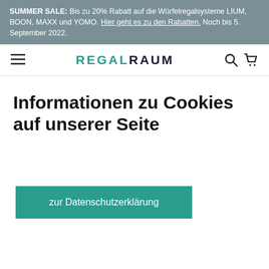SUMMER SALE: Bis zu 20% Rabatt auf die Würfelregalsysteme LIUM, BOON, MAXX und YOMO. Hier geht es zu den Rabatten. Noch bis 5. September 2022.
[Figure (logo): REGALRAUM logo with hamburger menu icon on left and search/cart icons on right]
Informationen zu Cookies auf unserer Seite
zur Datenschutzerklärung